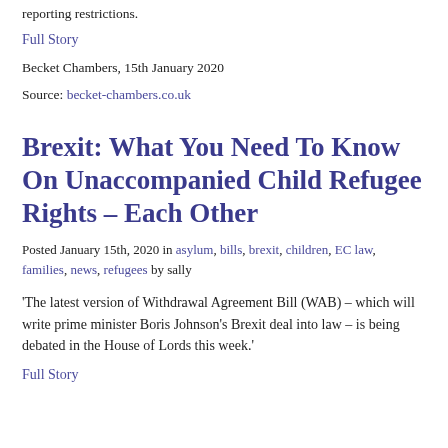reporting restrictions.
Full Story
Becket Chambers, 15th January 2020
Source: becket-chambers.co.uk
Brexit: What You Need To Know On Unaccompanied Child Refugee Rights – Each Other
Posted January 15th, 2020 in asylum, bills, brexit, children, EC law, families, news, refugees by sally
'The latest version of Withdrawal Agreement Bill (WAB) – which will write prime minister Boris Johnson's Brexit deal into law – is being debated in the House of Lords this week.'
Full Story